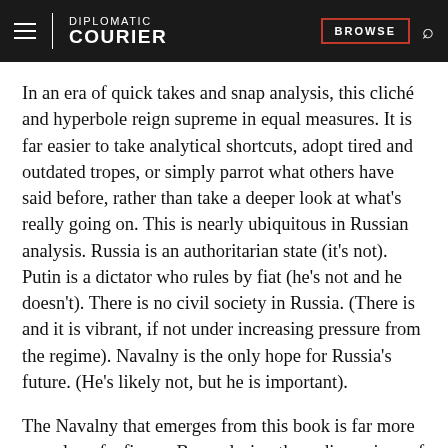DIPLOMATIC COURIER | BROWSE
In an era of quick takes and snap analysis, this cliché and hyperbole reign supreme in equal measures. It is far easier to take analytical shortcuts, adopt tired and outdated tropes, or simply parrot what others have said before, rather than take a deeper look at what's really going on. This is nearly ubiquitous in Russian analysis. Russia is an authoritarian state (it's not). Putin is a dictator who rules by fiat (he's not and he doesn't). There is no civil society in Russia. (There is and it is vibrant, if not under increasing pressure from the regime). Navalny is the only hope for Russia's future. (He's likely not, but he is important).
The Navalny that emerges from this book is far more complex of a figure. By exploring three dimensions of Navalny—the anti-corruption activist, the politician,